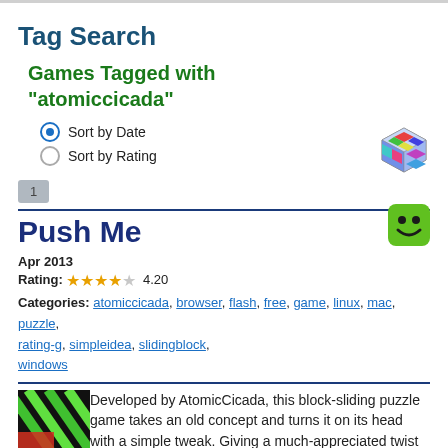Tag Search
Games Tagged with "atomiccicada"
Sort by Date (selected)
Sort by Rating
1
Push Me
Apr 2013
Rating: 4.20
Categories: atomiccicada, browser, flash, free, game, linux, mac, puzzle, rating-g, simpleidea, slidingblock, windows
[Figure (illustration): Colorful 3D cube icon]
[Figure (illustration): Green smiley face icon]
[Figure (illustration): Game thumbnail - green and red striped block puzzle image]
Developed by AtomicCicada, this block-sliding puzzle game takes an old concept and turns it on its head with a simple tweak. Giving a much-appreciated twist to a